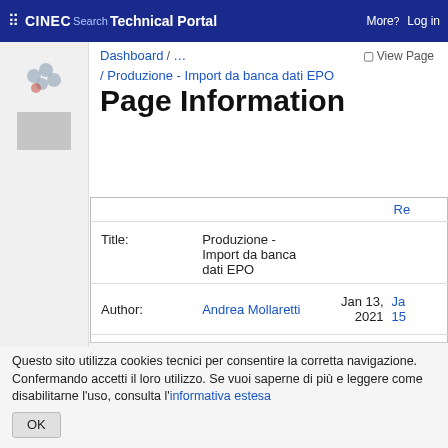⠿ CINECA Technical Portal Search More? Log in
Dashboard / ...   View Page
/ Produzione - Import da banca dati EPO
Page Information
|  |  |  | Re |
| --- | --- | --- | --- |
| Title: | Produzione - Import da banca dati EPO |  |  |
| Author: | Andrea Mollaretti | Jan 13, 2021 | Ja 15 |
| Last Changed by: | Andrea Mollaretti | Jan 23, 2021 | Ja 14 |
Questo sito utilizza cookies tecnici per consentire la corretta navigazione. Confermando accetti il loro utilizzo. Se vuoi saperne di più e leggere come disabilitarne l'uso, consulta l'informativa estesa
OK